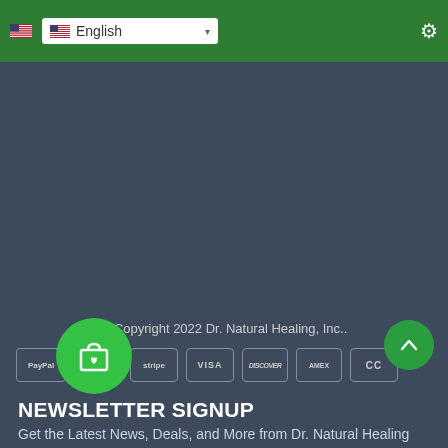English (language selector dropdown)
[Figure (screenshot): Dark blue-gray empty content area, likely a product or navigation area]
© Copyright 2022 Dr. Natural Healing, Inc..
[Figure (infographic): Payment method icons: PayPal, Mastercard, Stripe, VISA, Discover, American Express, CC]
NEWSLETTER SIGNUP
Get the Latest News, Deals, and More from Dr. Natural Healing